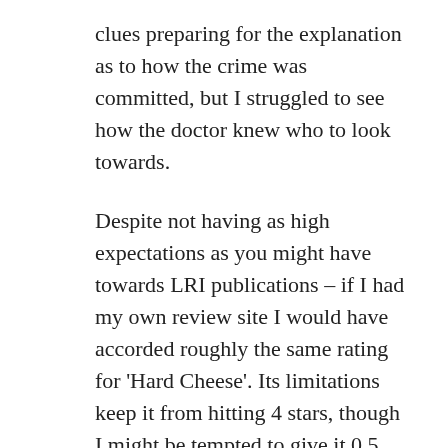clues preparing for the explanation as to how the crime was committed, but I struggled to see how the doctor knew who to look towards.
Despite not having as high expectations as you might have towards LRI publications – if I had my own review site I would have accorded roughly the same rating for 'Hard Cheese'. Its limitations keep it from hitting 4 stars, though I might be tempted to give it 0.5 star more.
P.S. I typed a long comment on your post regarding fair-play fiction, but